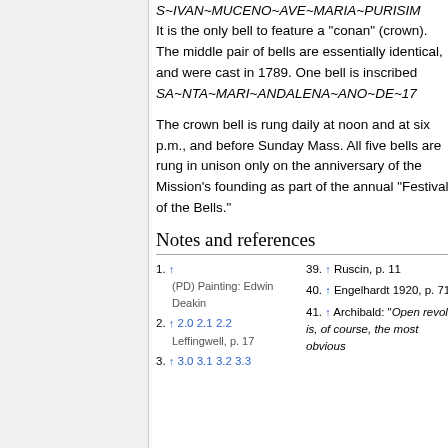S~IVAN~MUCENO~AVE~MARIA~PURISIM... It is the only bell to feature a "conan" (crown). The middle pair of bells are essentially identical, and were cast in 1789. One bell is inscribed SA~NTA~MARI~ANDALENA~ANO~DE~17...
The crown bell is rung daily at noon and at six p.m., and before Sunday Mass. All five bells are rung in unison only on the anniversary of the Mission's founding as part of the annual "Festival of the Bells."
Notes and references
1. ↑ (PD) Painting: Edwin Deakin
2. ↑ 2.0 2.1 2.2 Leffingwell, p. 17
3. ↑ 3.0 3.1 3.2 3.3
39. ↑ Ruscin, p. 11
40. ↑ Engelhardt 1920, p. 71
41. ↑ Archibald: "Open revolt is, of course, the most obvious